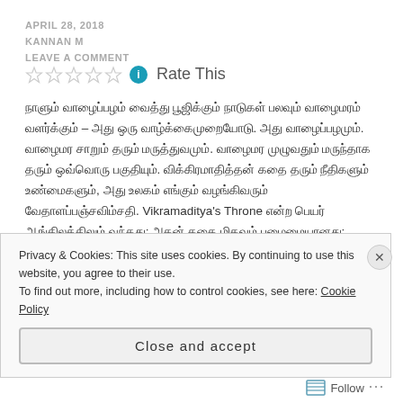APRIL 28, 2018
KANNAN M
LEAVE A COMMENT
[Figure (other): Five empty star rating icons followed by an info icon and 'Rate This' text]
Tamil text paragraph including 'Vikramaditya's Throne' mid-sentence, followed by partial Tamil text
Privacy & Cookies: This site uses cookies. By continuing to use this website, you agree to their use.
To find out more, including how to control cookies, see here: Cookie Policy

Close and accept